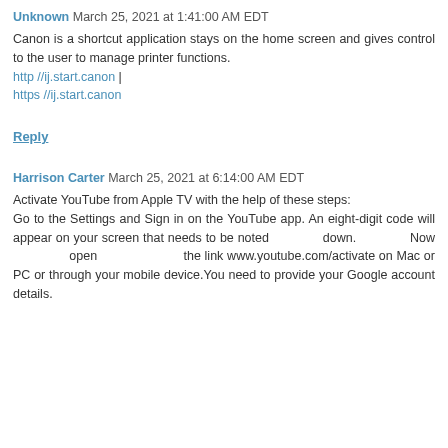Unknown  March 25, 2021 at 1:41:00 AM EDT
Canon is a shortcut application stays on the home screen and gives control to the user to manage printer functions.
http //ij.start.canon |
https //ij.start.canon
Reply
Harrison Carter  March 25, 2021 at 6:14:00 AM EDT
Activate YouTube from Apple TV with the help of these steps:
Go to the Settings and Sign in on the YouTube app. An eight-digit code will appear on your screen that needs to be noted down. Now open the link www.youtube.com/activate on Mac or PC or through your mobile device.You need to provide your Google account details.